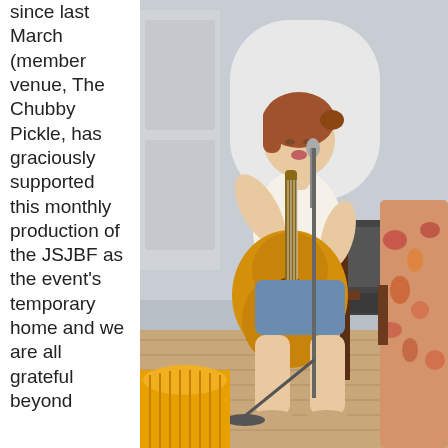since last March (member venue, The Chubby Pickle, has graciously supported this monthly production of the JSJBF as the event's temporary home and we are all grateful beyond
[Figure (photo): A young woman with red hair sits on a chair playing an acoustic guitar and singing into a microphone on a stand. She is wearing a white tank top and blue denim shorts. A yellow fan is visible in the foreground bottom-left. Another person in a floral-patterned top is partially visible on the right. The setting appears to be an indoor venue with white paneled walls.]